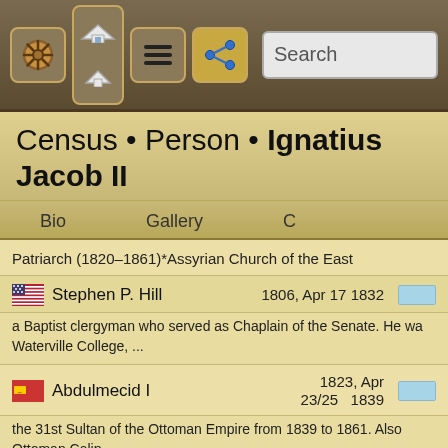Search
Census • Person • Ignatius Jacob II
Bio | Gallery | C
Patriarch (1820–1861)*Assyrian Church of the East
Stephen P. Hill  1806, Apr 17  1832
a Baptist clergyman who served as Chaplain of the Senate. He wa Waterville College, ...
Abdulmecid I  1823, Apr 23/25  1839
the 31st Sultan of the Ottoman Empire from 1839 to 1861. Also Ottoman Calip...
Frederick Rinehart Anspach  1815, Jan  1841
a Lutheran clergyman and writer. A sermon delivered on the occa Henry Clay wa...
Josif Rajacic  1785, Jul 20  1842
a metropolitan of Sremski Karlovci (1842–1848)and Patriarch of for the S...